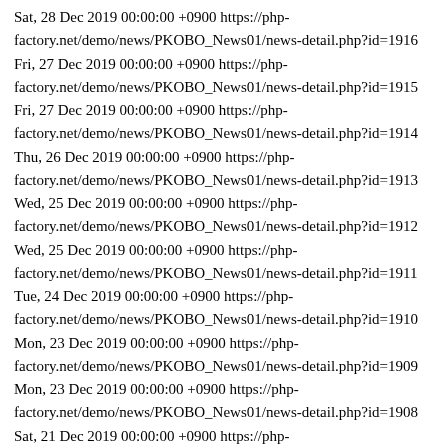Sat, 28 Dec 2019 00:00:00 +0900 https://php-factory.net/demo/news/PKOBO_News01/news-detail.php?id=1916
Fri, 27 Dec 2019 00:00:00 +0900 https://php-factory.net/demo/news/PKOBO_News01/news-detail.php?id=1915
Fri, 27 Dec 2019 00:00:00 +0900 https://php-factory.net/demo/news/PKOBO_News01/news-detail.php?id=1914
Thu, 26 Dec 2019 00:00:00 +0900 https://php-factory.net/demo/news/PKOBO_News01/news-detail.php?id=1913
Wed, 25 Dec 2019 00:00:00 +0900 https://php-factory.net/demo/news/PKOBO_News01/news-detail.php?id=1912
Wed, 25 Dec 2019 00:00:00 +0900 https://php-factory.net/demo/news/PKOBO_News01/news-detail.php?id=1911
Tue, 24 Dec 2019 00:00:00 +0900 https://php-factory.net/demo/news/PKOBO_News01/news-detail.php?id=1910
Mon, 23 Dec 2019 00:00:00 +0900 https://php-factory.net/demo/news/PKOBO_News01/news-detail.php?id=1909
Mon, 23 Dec 2019 00:00:00 +0900 https://php-factory.net/demo/news/PKOBO_News01/news-detail.php?id=1908
Sat, 21 Dec 2019 00:00:00 +0900 https://php-factory.net/demo/news/PKOBO_News01/news-detail.php?id=1907
Fri, 20 Dec 2019 00:00:00 +0900 https://php-factory.net/demo/news/PKOBO_News01/news-detail.php?id=1906
Fri, 20 Dec 2019 00:00:00 +0900 https://php-factory.net/demo/news/PKOBO_News01/news-detail.php?id=1905
Tue, 17 Dec 2019 00:00:00 +0900 https://php-